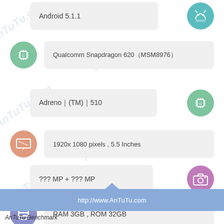Android 5.1.1
Qualcomm Snapdragon 620（MSM8976）
Adreno｜(TM)｜510
1920x 1080 pixels , 5.5 Inches
??? MP + ??? MP
RAM 3GB , ROM 32GB
http://www.AnTuTu.com
AnTuTu Benchmark